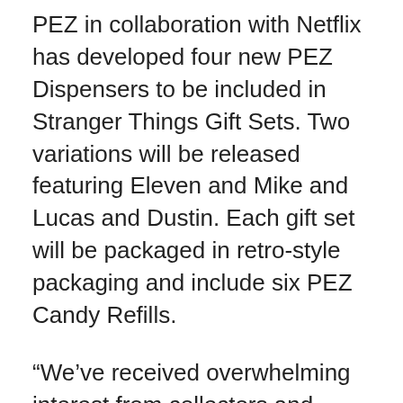PEZ in collaboration with Netflix has developed four new PEZ Dispensers to be included in Stranger Things Gift Sets. Two variations will be released featuring Eleven and Mike and Lucas and Dustin. Each gift set will be packaged in retro-style packaging and include six PEZ Candy Refills.
“We’ve received overwhelming interest from collectors and retailers alike so we’re really excited to bring these favorite Stranger Things characters to fans in a unique way,” said Amy Kopchak, director of Marketing for PEZ Candy, Inc.
The Stranger Things PEZ Gift Sets will be available in early September 2018 at select